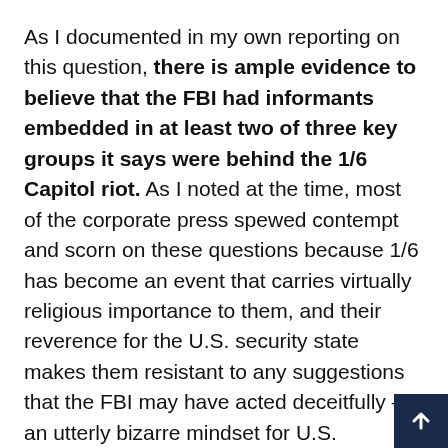As I documented in my own reporting on this question, there is ample evidence to believe that the FBI had informants embedded in at least two of three key groups it says were behind the 1/6 Capitol riot. As I noted at the time, most of the corporate press spewed contempt and scorn on these questions because 1/6 has become an event that carries virtually religious importance to them, and their reverence for the U.S. security state makes them resistant to any suggestions that the FBI may have acted deceitfully — an utterly bizarre mindset for U.S. journalists to possess. But such is the state of the liberal sector of the corporate press today.
Now that one of their own liberal members in good standing — BuzzFeed — has not only proven the FBI's key role in the Whitmer plot but also themselves suggested that it makes more plausible the bureau's involvement in 1/6, these questions are becoming